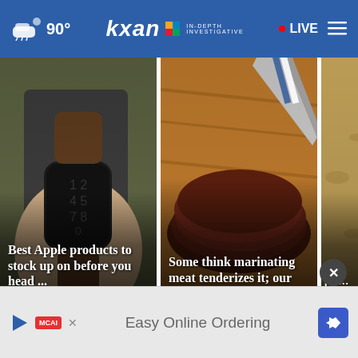☁ 90° | KXAN In-Depth Investigative | • LIVE ≡
[Figure (screenshot): Article card: Apple Watch on wrist. Title: Best Apple products to stock up on before you head ... Tag: Cell Phones & Accessories. 3 hours ago.]
[Figure (screenshot): Article card: Sliced marinated meat on cutting board. Title: Some think marinating meat tenderizes it; our cooking ... Tag: Food. 3 hours ago.]
[Figure (screenshot): Article card: Sandy beach scene. Title: Best pla... Crocs. Tag: Reviews.]
More reviews ▶
[Figure (screenshot): Advertisement banner: Easy Online Ordering with MCAI logo and navigation arrow icon.]